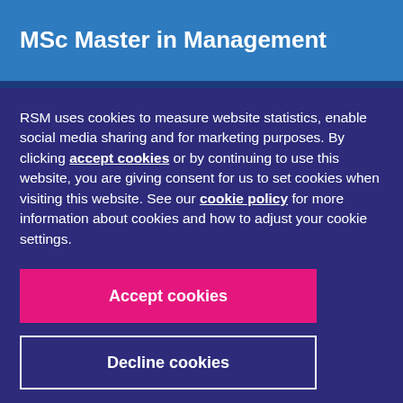MSc Master in Management
RSM uses cookies to measure website statistics, enable social media sharing and for marketing purposes. By clicking accept cookies or by continuing to use this website, you are giving consent for us to set cookies when visiting this website. See our cookie policy for more information about cookies and how to adjust your cookie settings.
Accept cookies
Decline cookies